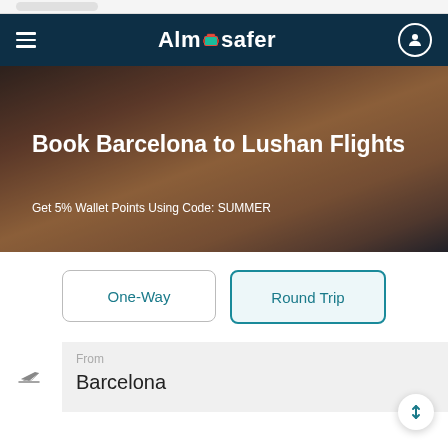Almosafer
Book Barcelona to Lushan Flights
Get 5% Wallet Points Using Code: SUMMER
One-Way
Round Trip
From
Barcelona